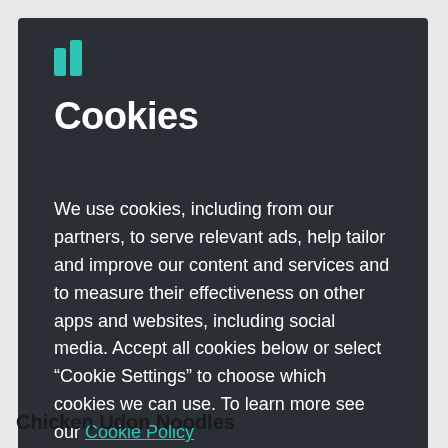[Figure (logo): Teal/green logo mark in top left of modal]
Cookies
We use cookies, including from our partners, to serve relevant ads, help tailor and improve our content and services and to measure their effectiveness on other apps and websites, including social media. Accept all cookies below or select “Cookie Settings” to choose which cookies we can use. To learn more see our Cookie Policy
Cookie Settings
Accept All Cookies
Chicken Udon Noodles